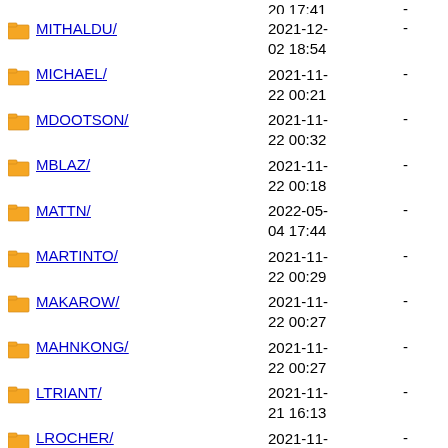20 17:41  -
MITHALDU/  2021-12-02 18:54  -
MICHAEL/  2021-11-22 00:21  -
MDOOTSON/  2021-11-22 00:32  -
MBLAZ/  2021-11-22 00:18  -
MATTN/  2022-05-04 17:44  -
MARTINTO/  2021-11-22 00:29  -
MAKAROW/  2021-11-22 00:27  -
MAHNKONG/  2021-11-22 00:27  -
LTRIANT/  2021-11-21 16:13  -
LROCHER/  2021-11-21 16:12  -
LORENZO/  2021-11-21 16:13  -